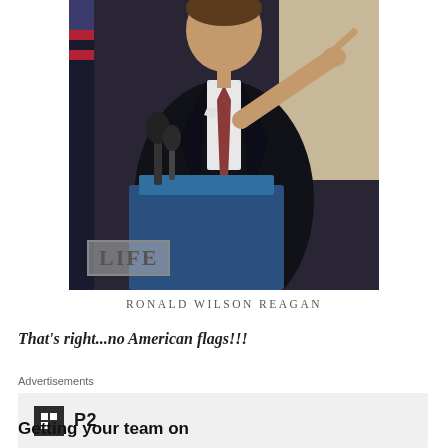[Figure (photo): Black and white / color photo of a man in a dark suit at a podium with microphones, pointing forward. A LIFE magazine logo badge is visible in the lower left of the photo.]
RONALD WILSON REAGAN
That's right...no American flags!!!
Advertisements
[Figure (logo): P2 logo — dark square icon with grid lines and 'P2' text]
Getting your team on